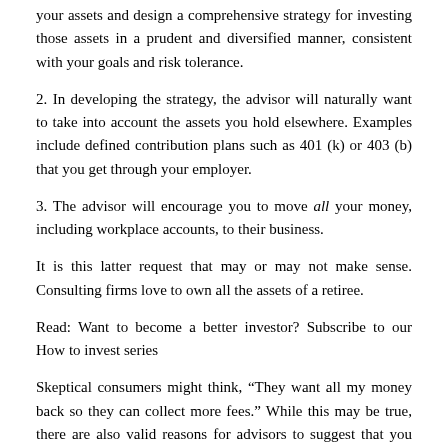your assets and design a comprehensive strategy for investing those assets in a prudent and diversified manner, consistent with your goals and risk tolerance.
2. In developing the strategy, the advisor will naturally want to take into account the assets you hold elsewhere. Examples include defined contribution plans such as 401 (k) or 403 (b) that you get through your employer.
3. The advisor will encourage you to move all your money, including workplace accounts, to their business.
It is this latter request that may or may not make sense. Consulting firms love to own all the assets of a retiree.
Read: Want to become a better investor? Subscribe to our How to invest series
Skeptical consumers might think, “They want all my money back so they can collect more fees.” While this may be true, there are also valid reasons for advisors to suggest that you close employers’ accounts and transfer the